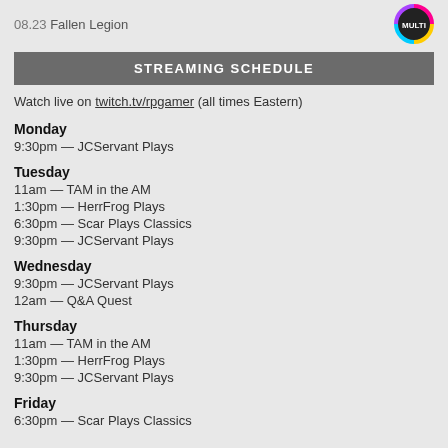08.23  Fallen Legion
STREAMING SCHEDULE
Watch live on twitch.tv/rpgamer (all times Eastern)
Monday
9:30pm — JCServant Plays
Tuesday
11am — TAM in the AM
1:30pm — HerrFrog Plays
6:30pm — Scar Plays Classics
9:30pm — JCServant Plays
Wednesday
9:30pm — JCServant Plays
12am — Q&A Quest
Thursday
11am — TAM in the AM
1:30pm — HerrFrog Plays
9:30pm — JCServant Plays
Friday
6:30pm — Scar Plays Classics